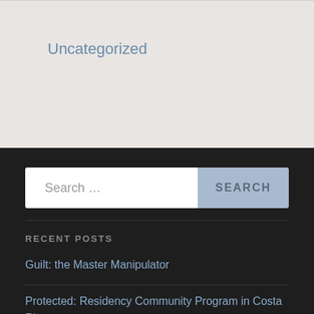Uncategorized
Search ...
RECENT POSTS
Guilt: the Master Manipulator
Protected: Residency Community Program in Costa Rica